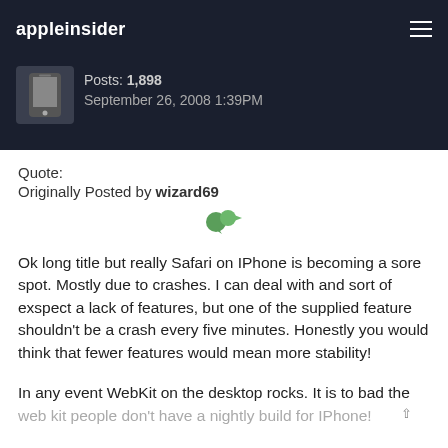appleinsider
Posts: 1,898
September 26, 2008 1:39PM
Quote:
Originally Posted by wizard69
[Figure (other): Green arrow/cursor icon representing a quote reply button]
Ok long title but really Safari on IPhone is becoming a sore spot. Mostly due to crashes. I can deal with and sort of exspect a lack of features, but one of the supplied feature shouldn't be a crash every five minutes. Honestly you would think that fewer features would mean more stability!
In any event WebKit on the desktop rocks. It is to bad the web kit people don't have a nightly build for IPhone!